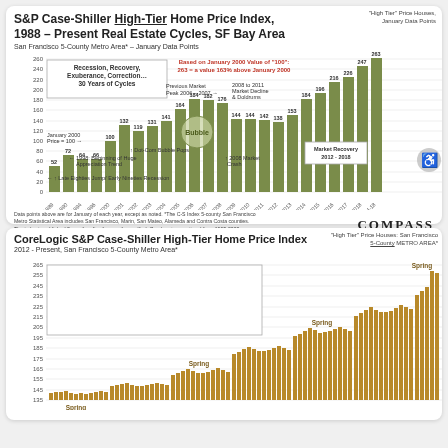S&P Case-Shiller High-Tier Home Price Index, 1988 – Present Real Estate Cycles, SF Bay Area
San Francisco 5-County Metro Area* – January Data Points
[Figure (bar-chart): S&P Case-Shiller High-Tier Home Price Index 1988-Present]
Data points above are for January of each year, except as noted. *The C-S Index 5-county San Francisco Metro Statistical Area includes San Francisco, Marin, San Mateo, Alameda and Contra Costa counties. The index is published 2 months after the month specified. Graph not proportional from 1993-2000.
CoreLogic S&P Case-Shiller High-Tier Home Price Index
2012 - Present, San Francisco 5-County Metro Area*
[Figure (bar-chart): Monthly bars from 2012 to present showing seasonality with spring peaks annotated]